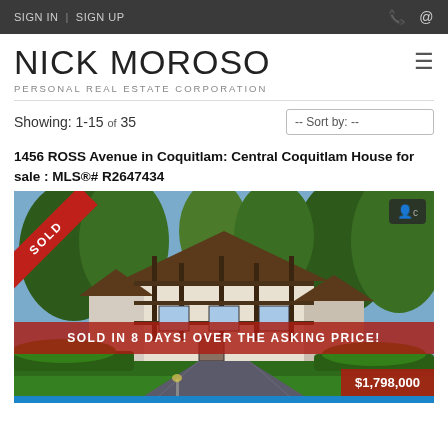SIGN IN | SIGN UP
NICK MOROSO
PERSONAL REAL ESTATE CORPORATION
Showing: 1-15 of 35
1456 ROSS Avenue in Coquitlam: Central Coquitlam House for sale : MLS®# R2647434
[Figure (photo): Exterior photo of a Tudor-style house with a SOLD ribbon in the top left corner and a banner reading SOLD IN 8 DAYS! OVER THE ASKING PRICE!]
$1,798,000